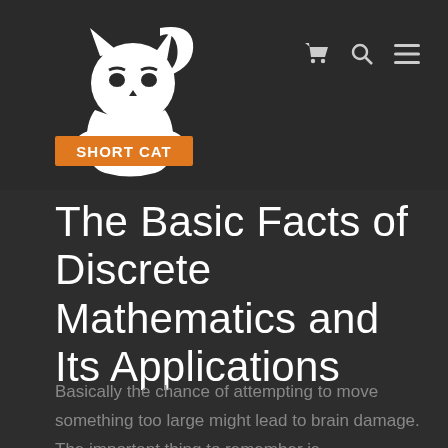[Figure (logo): Short Cat logo — white cat silhouette on dark background with orange 'SHORT CAT' text banner below]
Cart, Search, and Menu navigation icons
The Basic Facts of Discrete Mathematics and Its Applications
Basically the chance of attempting to move something too large might lead to brain damage. The important thing to remember is